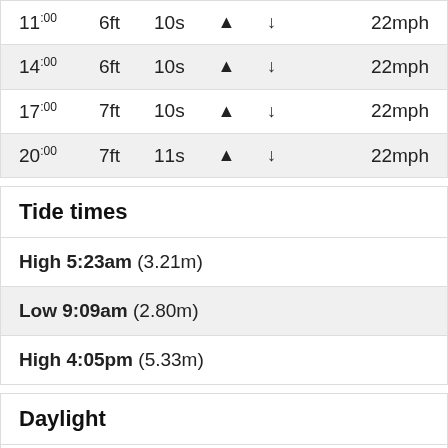| Time | Height | Period | Direction | Swell | Wind |
| --- | --- | --- | --- | --- | --- |
| 11:00 | 6ft | 10s | ▲ | ↓ | 22mph |
| 14:00 | 6ft | 10s | ▲ | ↓ | 22mph |
| 17:00 | 7ft | 10s | ▲ | ↓ | 22mph |
| 20:00 | 7ft | 11s | ▲ | ↓ | 22mph |
Tide times
High 5:23am (3.21m)
Low 9:09am (2.80m)
High 4:05pm (5.33m)
Daylight
First light   06:13